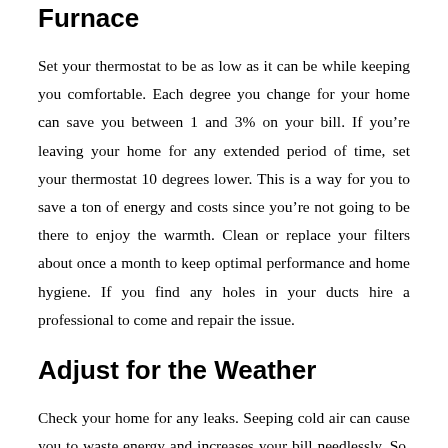Furnace
Set your thermostat to be as low as it can be while keeping you comfortable. Each degree you change for your home can save you between 1 and 3% on your bill. If you’re leaving your home for any extended period of time, set your thermostat 10 degrees lower. This is a way for you to save a ton of energy and costs since you’re not going to be there to enjoy the warmth. Clean or replace your filters about once a month to keep optimal performance and home hygiene. If you find any holes in your ducts hire a professional to come and repair the issue.
Adjust for the Weather
Check your home for any leaks. Seeping cold air can cause you to waste energy and increases your bill needlessly. So, make sure your home is air tight before it gets really cold. Add insulation around windows and around other places that could be air tight. For